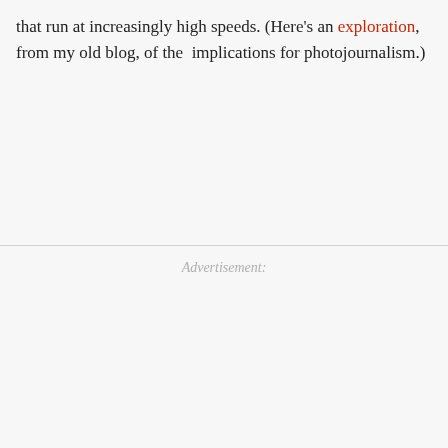that run at increasingly high speeds. (Here's an exploration, from my old blog, of the implications for photojournalism.)
Advertisement: